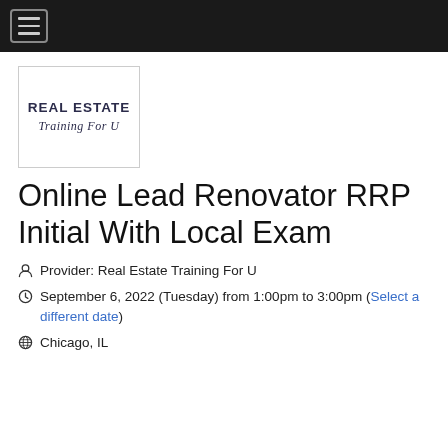Navigation bar with hamburger menu
[Figure (logo): Real Estate Training For U logo — bold uppercase serif text 'REAL ESTATE' above italic script 'Training For U', inside a bordered box]
Online Lead Renovator RRP Initial With Local Exam
Provider: Real Estate Training For U
September 6, 2022 (Tuesday) from 1:00pm to 3:00pm (Select a different date)
Chicago, IL